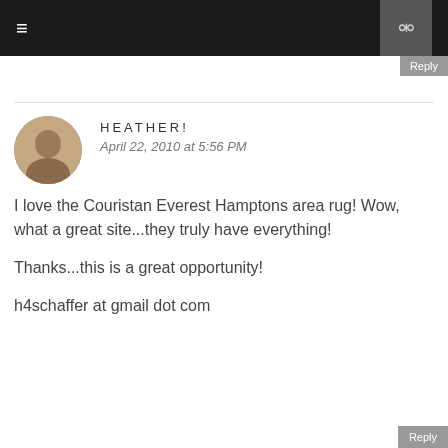≡   🔍
Reply
HEATHER!
April 22, 2010 at 5:56 PM
I love the Couristan Everest Hamptons area rug! Wow, what a great site...they truly have everything!

Thanks...this is a great opportunity!

h4schaffer at gmail dot com
Reply